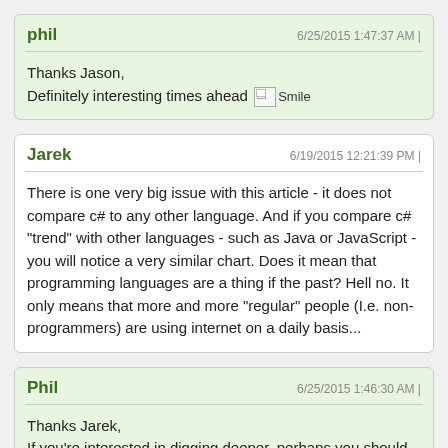phil
6/25/2015 1:47:37 AM |
Thanks Jason,
Definitely interesting times ahead [Smile]
Jarek
6/19/2015 12:21:39 PM |
There is one very big issue with this article - it does not compare c# to any other language. And if you compare c# "trend" with other languages - such as Java or JavaScript - you will notice a very similar chart. Does it mean that programming languages are a thing if the past? Hell no. It only means that more and more "regular" people (I.e. non-programmers) are using internet on a daily basis...
Phil
6/25/2015 1:46:30 AM |
Thanks Jarek,
If you're interested in digging deeper, perhaps you should